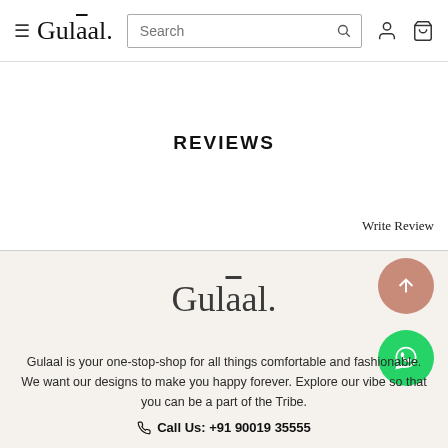≡ Gulaal. [Search] [user icon] [cart icon]
REVIEWS
Write Review
[Figure (logo): Gulaal brand logo in large serif font on a beige background]
Gulaal is your one-stop-shop for all things comfortable and fashionable. We want our designs to make you happy forever. Explore our vibe so that you can be a part of the Tribe.
Call Us: +91 90019 35555